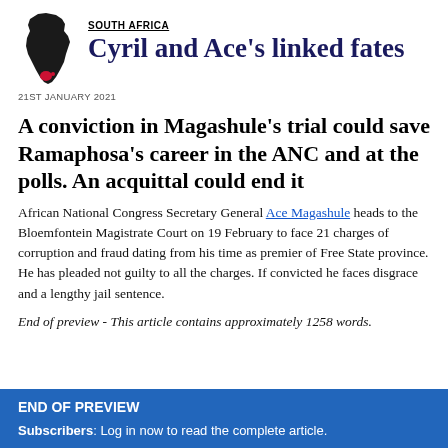[Figure (illustration): Silhouette map of Africa in black with a red highlight marking South Africa, positioned top-left of the page header.]
SOUTH AFRICA
Cyril and Ace's linked fates
21ST JANUARY 2021
A conviction in Magashule's trial could save Ramaphosa's career in the ANC and at the polls. An acquittal could end it
African National Congress Secretary General Ace Magashule heads to the Bloemfontein Magistrate Court on 19 February to face 21 charges of corruption and fraud dating from his time as premier of Free State province. He has pleaded not guilty to all the charges. If convicted he faces disgrace and a lengthy jail sentence.
End of preview - This article contains approximately 1258 words.
END OF PREVIEW
Subscribers: Log in now to read the complete article.